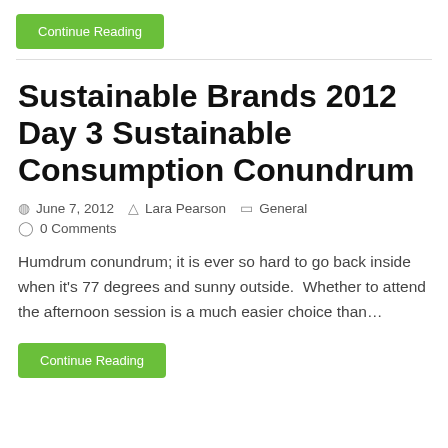Continue Reading
Sustainable Brands 2012 Day 3 Sustainable Consumption Conundrum
June 7, 2012   Lara Pearson   General
0 Comments
Humdrum conundrum; it is ever so hard to go back inside when it's 77 degrees and sunny outside.  Whether to attend the afternoon session is a much easier choice than…
Continue Reading